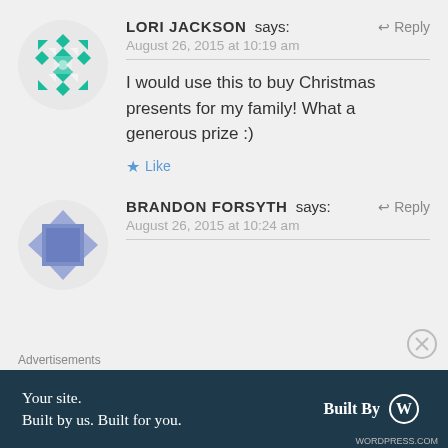[Figure (illustration): Teal geometric quilt-pattern avatar for Lori Jackson]
LORI JACKSON says:
↩ Reply
August 26, 2015 at 10:19 am
I would use this to buy Christmas presents for my family! What a generous prize :)
★ Like
[Figure (illustration): Blue/grey geometric avatar for Brandon Forsyth]
BRANDON FORSYTH says:
↩ Reply
August 26, 2015 at 10:24 am
Advertisements
[Figure (other): WordPress advertisement banner: Your site. Built by us. Built for you. Built By WordPress logo]